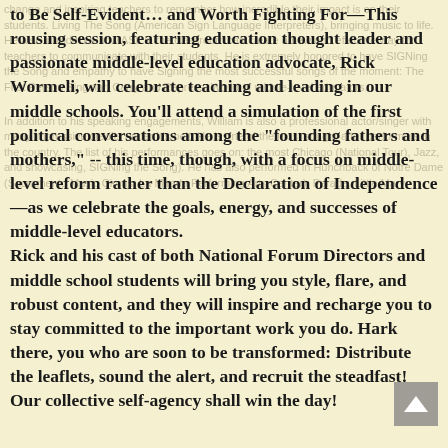to Be Self-Evident… and Worth Fighting For—This rousing session, featuring education thought leader and passionate middle-level education advocate, Rick Wormeli, will celebrate teaching and leading in our middle schools. You'll attend a simulation of the first political conversations among the "founding fathers and mothers," -- this time, though, with a focus on middle-level reform rather than the Declaration of Independence—as we celebrate the goals, energy, and successes of middle-level educators. Rick and his cast of both National Forum Directors and middle school students will bring you style, flare, and robust content, and they will inspire and recharge you to stay committed to the important work you do. Hark there, you who are soon to be transformed: Distribute the leaflets, sound the alert, and recruit the steadfast! Our collective self-agency shall win the day!